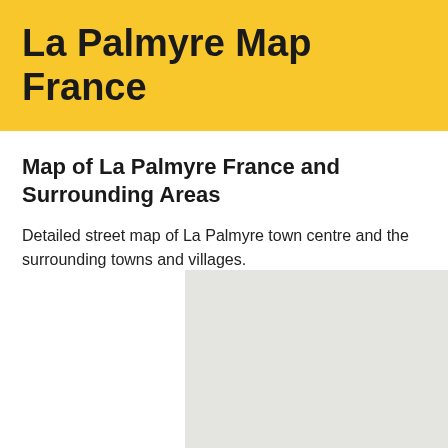La Palmyre Map France
Map of La Palmyre France and Surrounding Areas
Detailed street map of La Palmyre town centre and the surrounding towns and villages.
[Figure (map): Partial map image showing a grey placeholder area representing a street map of La Palmyre, France and surrounding areas]